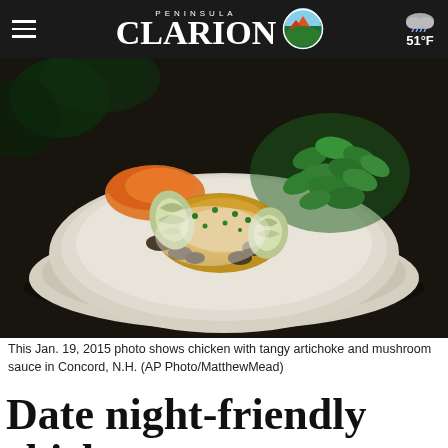Peninsula Clarion — 51°F
[Figure (photo): A plate of chicken with tangy artichoke and mushroom sauce, served with fresh greens and orange sweet potato, photographed on January 19, 2015 in Concord, N.H.]
This Jan. 19, 2015 photo shows chicken with tangy artichoke and mushroom sauce in Concord, N.H. (AP Photo/MatthewMead)
Date night-friendly chicken